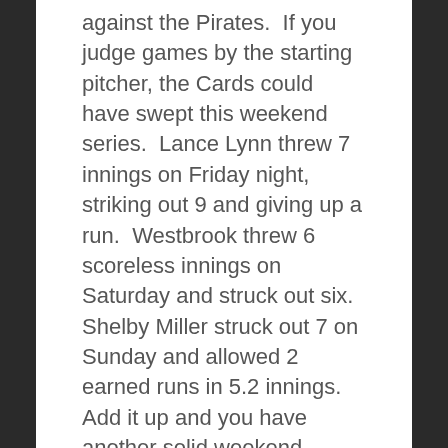against the Pirates.  If you judge games by the starting pitcher, the Cards could have swept this weekend series.  Lance Lynn threw 7 innings on Friday night, striking out 9 and giving up a run.  Westbrook threw 6 scoreless innings on Saturday and struck out six.  Shelby Miller struck out 7 on Sunday and allowed 2 earned runs in 5.2 innings.  Add it up and you have another solid weekend series from our starters.
*Its a small sample size with the rotation but 24 games in and they are the support belt of this team.  A question mark heading in is shaping up to be a potential strength.  Adam Wainwright has settled in.  Jaime Garcia has pitched well minus one start.  Lynn showed consistency with his fine start on Friday...